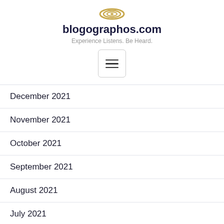[Figure (logo): Blogographos logo - circular golden emblem]
blogographos.com
Experience Listens. Be Heard.
[Figure (other): Hamburger menu button with three horizontal lines, bordered rectangle]
December 2021
November 2021
October 2021
September 2021
August 2021
July 2021
June 2021